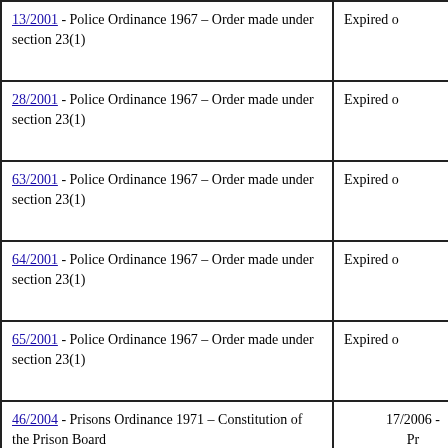| Ordinance/Order | Status/Reference |
| --- | --- |
| 13/2001 - Police Ordinance 1967 – Order made under section 23(1) | Expired o... |
| 28/2001 - Police Ordinance 1967 – Order made under section 23(1) | Expired o... |
| 63/2001 - Police Ordinance 1967 – Order made under section 23(1) | Expired o... |
| 64/2001 - Police Ordinance 1967 – Order made under section 23(1) | Expired o... |
| 65/2001 - Police Ordinance 1967 – Order made under section 23(1) | Expired o... |
| 46/2004 - Prisons Ordinance 1971 – Constitution of the Prison Board | 17/2006 - Pr... |
| Protection of Public Health (Covid-19) Ordinance 2020. (04/2020)* (05/2020) Protection of Public Health (Covid-19) (Amendment) Ordinance 2020. | 13/2020 – (C... |